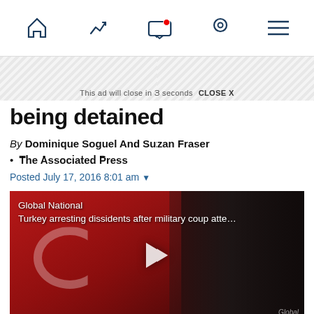Navigation bar with home, trending, screen, location, and menu icons
This ad will close in 3 seconds  CLOSE X
being detained
By Dominique Soguel And Suzan Fraser · The Associated Press
Posted July 17, 2016 8:01 am
[Figure (screenshot): Video thumbnail showing Global National news segment titled 'Turkey arresting dissidents after military coup atte...' with people holding a Turkish flag, a play button in the center, and a bearded man visible on the right side.]